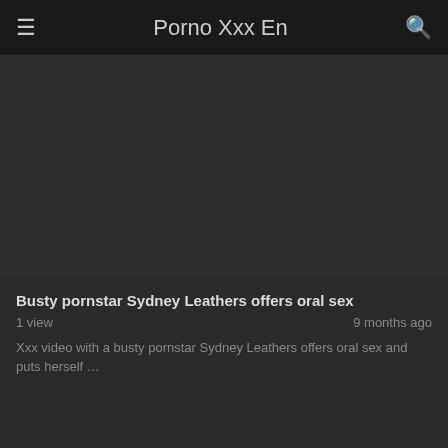Porno Xxx En
[Figure (screenshot): Dark thumbnail placeholder for video]
Busty pornstar Sydney Leathers offers oral sex
1 view · 9 months ago
Xxx video with a busty pornstar Sydney Leathers offers oral sex and puts herself …